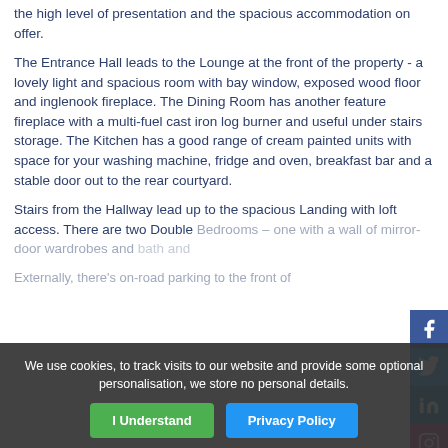the high level of presentation and the spacious accommodation on offer.
The Entrance Hall leads to the Lounge at the front of the property - a lovely light and spacious room with bay window, exposed wood floor and inglenook fireplace. The Dining Room has another feature fireplace with a multi-fuel cast iron log burner and useful under stairs storage. The Kitchen has a good range of cream painted units with space for your washing machine, fridge and oven, breakfast bar and a stable door out to the rear courtyard.
Stairs from the Hallway lead up to the spacious Landing with loft access. There are two Double Bedrooms – one with a wall of mirror-door wardrobes and... bath and...
Externally, there's on-road parking to the front of
We use cookies, to track visits to our website and provide some optional personalisation, we store no personal details.